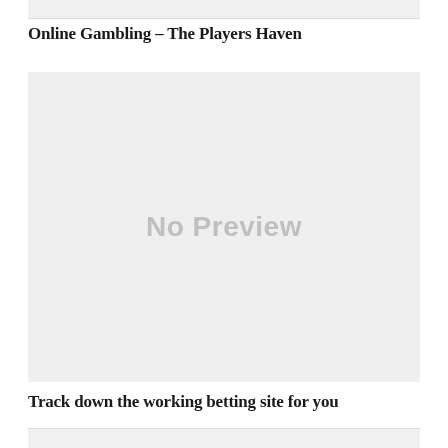[Figure (other): Top partial image strip, light gray background]
Online Gambling – The Players Haven
[Figure (other): No Preview placeholder image, large gray rectangle with 'No Preview' text in center]
Track down the working betting site for you
[Figure (other): Bottom partial image strip, light gray background]